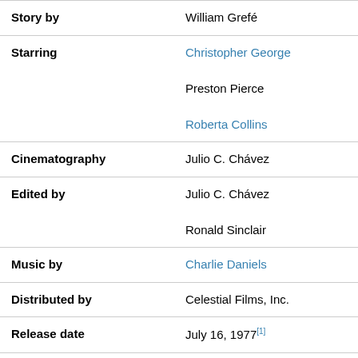| Field | Value |
| --- | --- |
| Story by | William Grefé |
| Starring | Christopher George
Preston Pierce
Roberta Collins |
| Cinematography | Julio C. Chávez |
| Edited by | Julio C. Chávez
Ronald Sinclair |
| Music by | Charlie Daniels |
| Distributed by | Celestial Films, Inc. |
| Release date | July 16, 1977[1] |
| Running time | 95 minutes[2] |
| Country | United States |